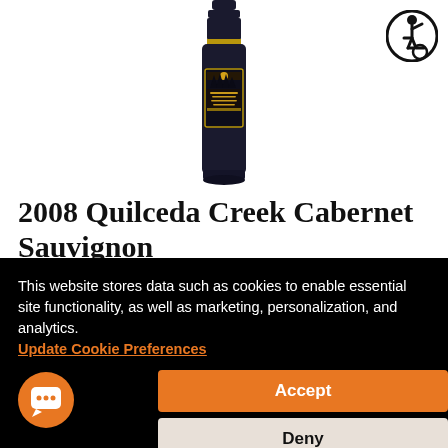[Figure (photo): A dark wine bottle with gold label — Quilceda Creek Cabernet Sauvignon 2008]
[Figure (logo): Accessibility icon — person in wheelchair inside a black circle]
2008 Quilceda Creek Cabernet Sauvignon
This website stores data such as cookies to enable essential site functionality, as well as marketing, personalization, and analytics. Update Cookie Preferences
Accept
Deny
[Figure (logo): Orange chat bubble icon in bottom-left corner]